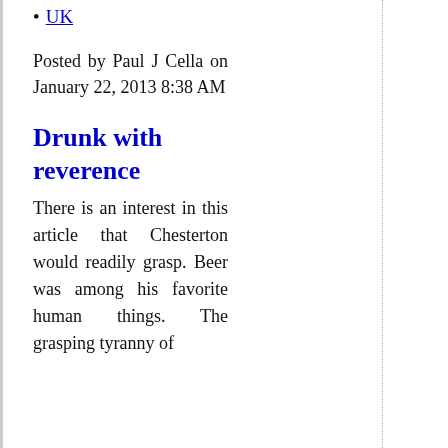UK
Posted by Paul J Cella on January 22, 2013 8:38 AM
Drunk with reverence
There is an interest in this article that Chesterton would readily grasp. Beer was among his favorite human things. The grasping tyranny of